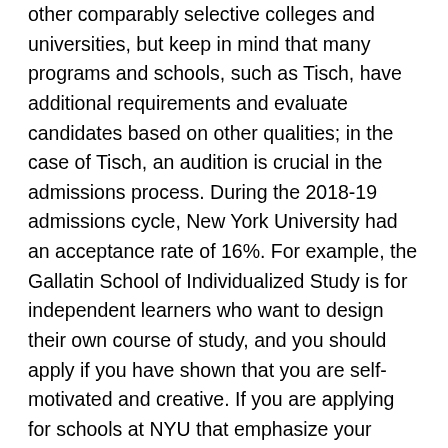other comparably selective colleges and universities, but keep in mind that many programs and schools, such as Tisch, have additional requirements and evaluate candidates based on other qualities; in the case of Tisch, an audition is crucial in the admissions process. During the 2018-19 admissions cycle, New York University had an acceptance rate of 16%. For example, the Gallatin School of Individualized Study is for independent learners who want to design their own course of study, and you should apply if you have shown that you are self-motivated and creative. If you are applying for schools at NYU that emphasize your academic record more heavily, such as Engineering or Arts and Sciences, your scores should fall at the upper end of the 50% range, or above it. The Class of 2023 was the single most challenging years to be admitted to New York University ever. College really is what you make of it, and if you put effort into adjusting to another school by joining clubs, working hard in your classes, and cultivating a social life, you'll likely find